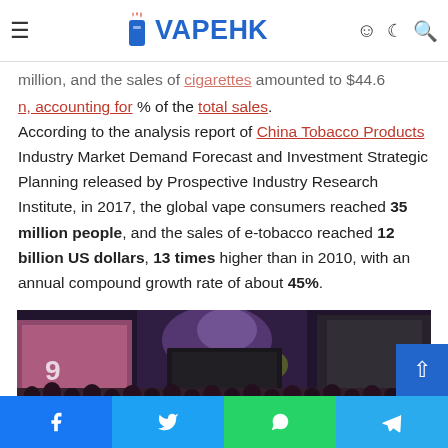VAPEHK (navigation bar with hamburger menu, logo, user/dark-mode/search icons)
million, and the sales of cigarettes amounted to $44.6 billion, accounting for % of the total sales. According to the analysis report of China Tobacco Products Industry Market Demand Forecast and Investment Strategic Planning released by Prospective Industry Research Institute, in 2017, the global vape consumers reached 35 million people, and the sales of e-tobacco reached 12 billion US dollars, 13 times higher than in 2010, with an annual compound growth rate of about 45%.
[Figure (photo): Crowd of people at a vape expo/event inside a large convention hall with colorful booths, stage lighting, and banners visible in the background.]
Social share buttons: Facebook, Twitter, WhatsApp, Telegram